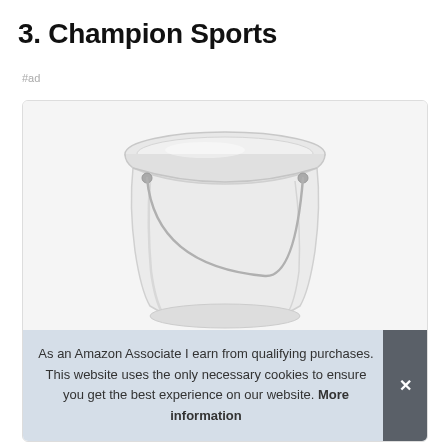3. Champion Sports
#ad
[Figure (photo): A white plastic bucket with a metal handle, viewed from a slight angle against a white background, inside a product listing card with a rounded border.]
As an Amazon Associate I earn from qualifying purchases. This website uses the only necessary cookies to ensure you get the best experience on our website. More information